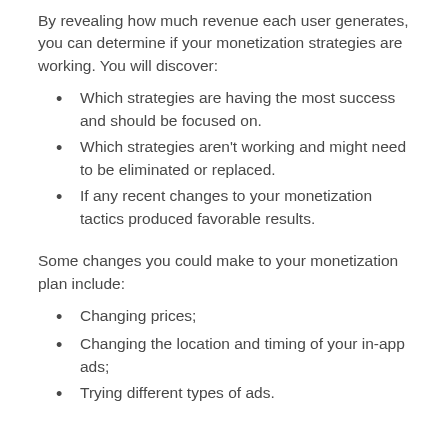By revealing how much revenue each user generates, you can determine if your monetization strategies are working. You will discover:
Which strategies are having the most success and should be focused on.
Which strategies aren't working and might need to be eliminated or replaced.
If any recent changes to your monetization tactics produced favorable results.
Some changes you could make to your monetization plan include:
Changing prices;
Changing the location and timing of your in-app ads;
Trying different types of ads.